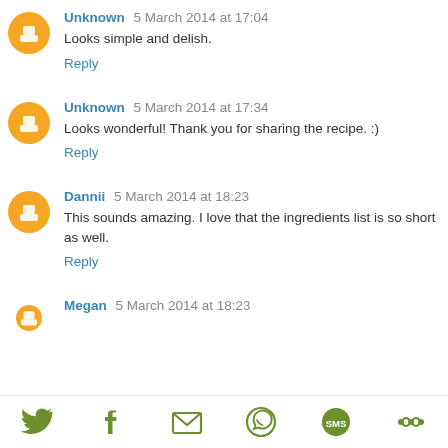Unknown 5 March 2014 at 17:04
Looks simple and delish.
Reply
Unknown 5 March 2014 at 17:34
Looks wonderful! Thank you for sharing the recipe. :)
Reply
Dannii 5 March 2014 at 18:23
This sounds amazing. I love that the ingredients list is so short as well.
Reply
Megan 5 March 2014 at 18:23
[Figure (infographic): Social share bar with icons for Twitter, Facebook, Email, WhatsApp, SMS, and another share service in olive/green color]